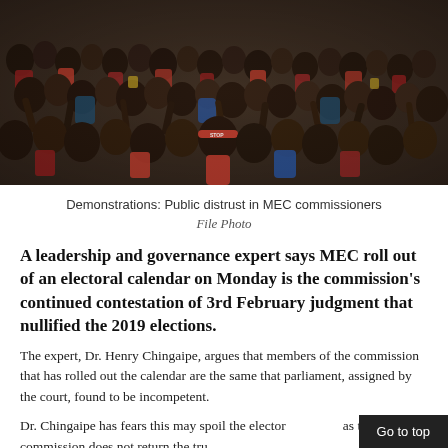[Figure (photo): Large crowd of people demonstrating, many with raised arms, wearing red clothing and accessories.]
Demonstrations: Public distrust in MEC commissioners
File Photo
A leadership and governance expert says MEC roll out of an electoral calendar on Monday is the commission's continued contestation of 3rd February judgment that nullified the 2019 elections.
The expert, Dr. Henry Chingaipe, argues that members of the commission that has rolled out the calendar are the same that parliament, assigned by the court, found to be incompetent.
Dr. Chingaipe has fears this may spoil the electoral process as the current commission does not return the tru...